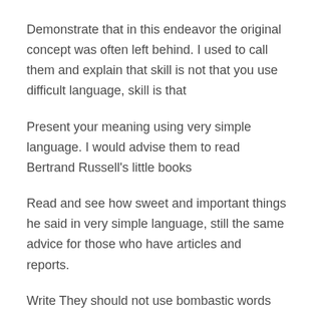Demonstrate that in this endeavor the original concept was often left behind. I used to call them and explain that skill is not that you use difficult language, skill is that
Present your meaning using very simple language. I would advise them to read Bertrand Russell's little books
Read and see how sweet and important things he said in very simple language, still the same advice for those who have articles and reports.
Write They should not use bombastic words and use simple good words. This also makes the writing attractive and easy to understand.
See, Prof. Dr. Alfred North Whitehead was mentioned because he later moved from England to the United States and was a superior mathematician.